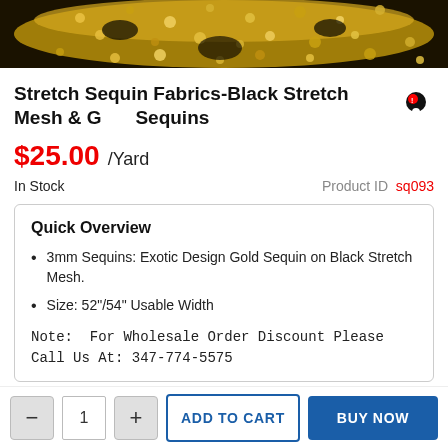[Figure (photo): Close-up photo of gold sequins on black stretch mesh fabric, showing ornate exotic design pattern]
Stretch Sequin Fabrics-Black Stretch Mesh & Gold Sequins
$25.00 /Yard
In Stock   Product ID sq093
Quick Overview
3mm Sequins: Exotic Design Gold Sequin on Black Stretch Mesh.
Size: 52"/54" Usable Width
Note: For Wholesale Order Discount Please Call Us At: 347-774-5575